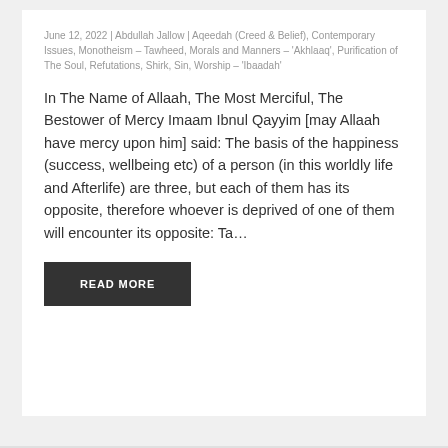June 12, 2022 | Abdullah Jallow | Aqeedah (Creed & Belief), Contemporary Issues, Monotheism – Tawheed, Morals and Manners – 'Akhlaaq', Purification of The Soul, Refutations, Shirk, Sin, Worship – 'Ibaadah'
In The Name of Allaah, The Most Merciful, The Bestower of Mercy Imaam Ibnul Qayyim [may Allaah have mercy upon him] said: The basis of the happiness (success, wellbeing etc) of a person (in this worldly life and Afterlife) are three, but each of them has its opposite, therefore whoever is deprived of one of them will encounter its opposite: Ta...